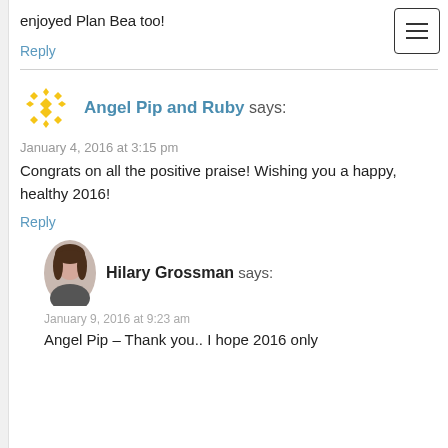[Figure (other): Hamburger menu button top right corner]
enjoyed Plan Bea too!
Reply
Angel Pip and Ruby says:
January 4, 2016 at 3:15 pm
Congrats on all the positive praise! Wishing you a happy, healthy 2016!
Reply
[Figure (photo): Profile photo of Hilary Grossman, a woman with dark hair]
Hilary Grossman says:
January 9, 2016 at 9:23 am
Angel Pip – Thank you.. I hope 2016 only